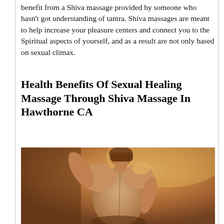benefit from a Shiva massage provided by someone who hasn't got understanding of tantra. Shiva massages are meant to help increase your pleasure centers and connect you to the Spiritual aspects of yourself, and as a result are not only based on sexual climax.
Health Benefits Of Sexual Healing Massage Through Shiva Massage In Hawthorne CA
[Figure (photo): A photograph of a person from behind, partially unclothed, with warm amber/golden lighting tones]